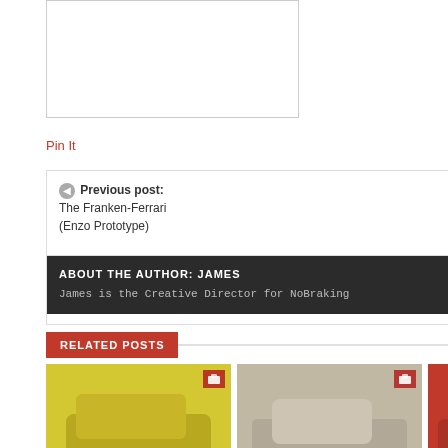[Figure (photo): Empty white image placeholder box with border]
Pin It
Previous post: The Franken-Ferrari (Enzo Prototype)
Next Post: HRE Go back to the classics
ABOUT THE AUTHOR: JAMES
James is the Creative Director for NoBraking
RELATED POSTS
[Figure (photo): Yellow sports car (Porsche) thumbnail]
[Figure (photo): Classic white convertible car thumbnail]
[Figure (photo): Red sports car (Mustang) thumbnail]
A PREVIEW
THE QUAI...
ZERO TO 60...